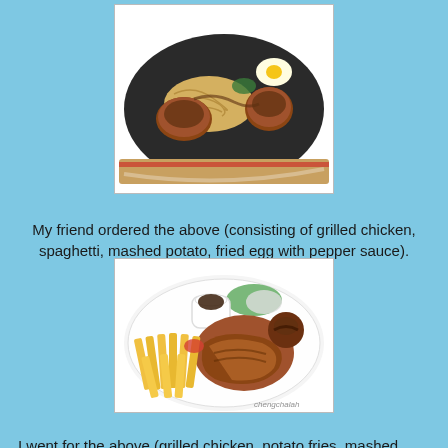[Figure (photo): Sizzling plate with grilled chicken, spaghetti, mashed potato, fried egg, covered in brown pepper sauce, served on a cast iron skillet on a wooden board. Watermark: chengchalah.]
My friend ordered the above (consisting of grilled chicken, spaghetti, mashed potato, fried egg with pepper sauce).
[Figure (photo): White plate with grilled chicken, potato fries, mashed potato or coleslaw, a small ramekin of brown sauce, and a meatball with brown sauce on top. Watermark: chengchalah.]
I went for the above (grilled chicken, potato fries, mashed potato, along with Thai sauce). Want to hear a mini review?